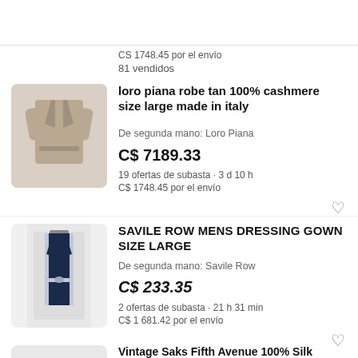81 vendidos
[Figure (photo): Loro Piana tan cashmere robe, laid flat on a light stone surface]
loro piana robe tan 100% cashmere size large made in italy
De segunda mano: Loro Piana
C$ 7189.33
19 ofertas de subasta · 3 d 10 h
C$ 1748.45 por el envío
[Figure (photo): Navy blue Savile Row dressing gown hanging on a door]
SAVILE ROW MENS DRESSING GOWN SIZE LARGE
De segunda mano: Savile Row
C$ 233.35
2 ofertas de subasta · 21 h 31 min
C$ 1 681.42 por el envío
Vintage Saks Fifth Avenue 100% Silk